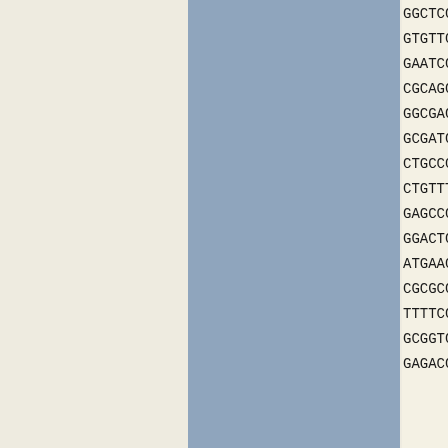|  | Sequence |
| --- | --- |
|  | GGCTCGTCCG CGGG |
|  | GTGTTCATCG TCGG |
|  | GAATCGATCC GCTT |
|  | CGCAGGATCG CGCO |
|  | GGCGAGCAAC GGCG |
|  | GCGATGCTGT GGCT |
|  | CTGCCCACGC TGAT |
|  | CTGTTTCCGC TCGG |
|  | GAGCCGCATC GCGT |
|  | GGACTGCAGG CCGG |
|  | ATGAACGGCG CGCA |
|  | CGCGCGACGG GCGT |
|  | TTTTCGGGCG GCTT |
|  | GCGGTGCCGG CGCT |
|  | GAGACGCAGC CGGA |
| Protein sequence | MTDLARQLDV QQFI |
|  | ALGPVMSAAL VGLA |
|  | LLTGLGLGAA MPNA |
|  | VFIVGGIVPL ALGA |
|  | GEQRRSGAAV VLSP |
|  | LFPLGGGIGA IACG |
|  | MNGAQSSLPA LAAA |
|  | AVPALIAAGA LMVK |